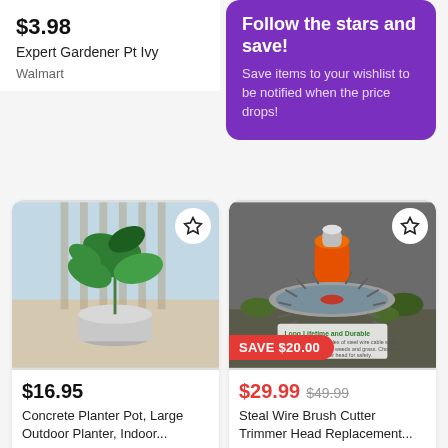$3.98
Expert Gardener Pt Ivy
Walmart
Follow the stars and save!
Save items to your wishlist to be notified when the price drops!
[Figure (photo): Concrete planter pot with large green tropical plant indoors]
$16.95
Concrete Planter Pot, Large Outdoor Planter, Indoor...
Etsy
[Figure (photo): Steel wire brush cutter trimmer head replacement tool on ground]
SAVE $20.00
$29.99 $49.99
Steal Wire Brush Cutter Trimmer Head Replacement...
Walmart